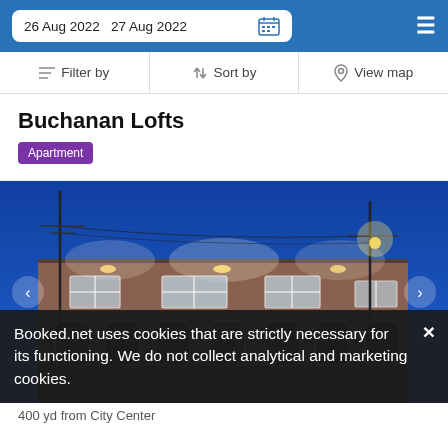26 Aug 2022  27 Aug 2022
Filter by   Sort by   View map
Buchanan Lofts
Apartment
[Figure (photo): Night-time exterior photo of Buchanan Lofts apartment building, a brick building with white-framed windows illuminated by spotlights against a deep blue sky, with utility poles visible]
Booked.net uses cookies that are strictly necessary for its functioning. We do not collect analytical and marketing cookies.
400 yd from City Center